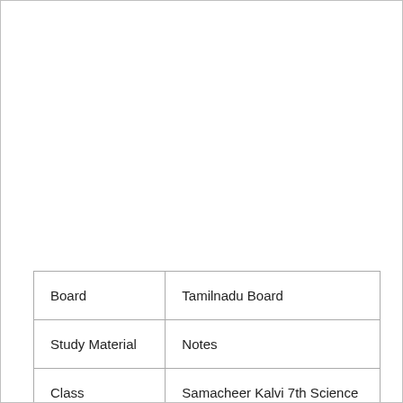| Board | Tamilnadu Board |
| Study Material | Notes |
| Class | Samacheer Kalvi 7th Science |